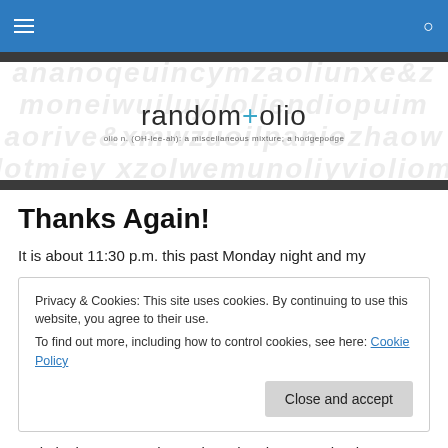Navigation bar with hamburger menu and search icon
[Figure (logo): random+olio logo with watermark text background. Tagline: olio n. (OH-lee-ah): a miscellaneous mixture; a hodgepodge]
Thanks Again!
It is about 11:30 p.m. this past Monday night and my
Privacy & Cookies: This site uses cookies. By continuing to use this website, you agree to their use.
To find out more, including how to control cookies, see here: Cookie Policy
[Close and accept]
and I look up to see those signs they have on shuttle